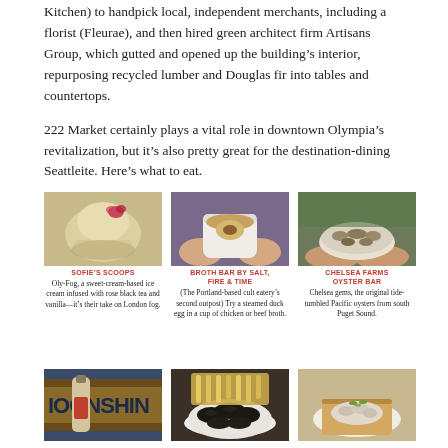Kitchen) to handpick local, independent merchants, including a florist (Fleurae), and then hired green architect firm Artisans Group, which gutted and opened up the building's interior, repurposing recycled lumber and Douglas fir into tables and countertops.
222 Market certainly plays a vital role in downtown Olympia's revitalization, but it's also pretty great for the destination-dining Seattleite. Here's what to eat.
[Figure (photo): Oly-Fog ice cream scoop with pink rose decoration]
SOFIE'S SCOOPS
Oly-Fog, a sweet-cream-based ice cream infused with rose black tea and vanilla—it's their take on London fog.
[Figure (photo): Hands holding a white cup of broth with steamed duck egg]
BROTH BAR BY SALT, FIRE & TIME
(The Portland-based cult eatery's second outpost) Try a steamed duck egg in a cup of chicken or beef broth.
[Figure (photo): Hands holding a bowl of Pacific oysters from Chelsea Farms]
CHELSEA FARMS OYSTER BAR
Chelsea gems, the original tide-tumbled Pacific oysters from south Puget Sound.
[Figure (photo): Moonshine bottle in front of wooden sign]
[Figure (photo): Plate of mussels with fries]
[Figure (photo): Oyster dish on toast with garnish]